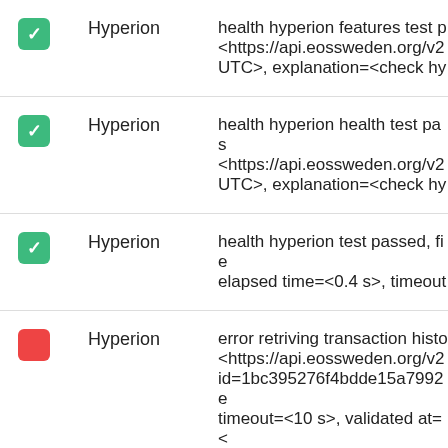|  | Name | Description |
| --- | --- | --- |
| [truncated top] | Hyperion | health hyperion features test p... <https://api.eossweden.org/v2... UTC>, explanation=<check hy... |
| ✓ | Hyperion | health hyperion health test pas... <https://api.eossweden.org/v2... UTC>, explanation=<check hy... |
| ✓ | Hyperion | health hyperion test passed, fie... elapsed time=<0.4 s>, timeout... |
| ✗ | Hyperion | error retriving transaction histo... <https://api.eossweden.org/v2... id=1bc395276f4bdde15a7992e... timeout=<10 s>, validated at=<... <https://t.me/EOSHyperion> |
| ✗ | Hyperion | error retriving actions history, v... <https://api.eossweden.org/v2... |